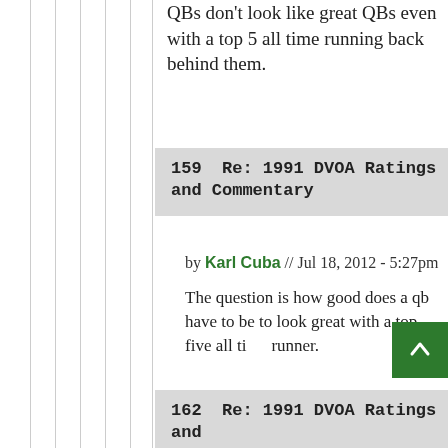QBs don't look like great QBs even with a top 5 all time running back behind them.
159  Re: 1991 DVOA Ratings and Commentary
by Karl Cuba // Jul 18, 2012 - 5:27pm
The question is how good does a qb have to be to look great with a top five all time runner.
162  Re: 1991 DVOA Ratings and